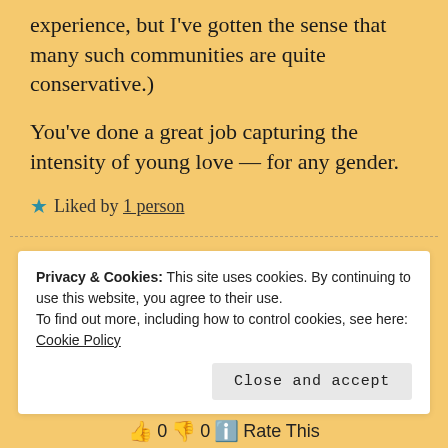experience, but I've gotten the sense that many such communities are quite conservative.)
You've done a great job capturing the intensity of young love — for any gender.
★ Liked by 1 person
Privacy & Cookies: This site uses cookies. By continuing to use this website, you agree to their use. To find out more, including how to control cookies, see here: Cookie Policy
Close and accept
👍 0 👎 0 ℹ Rate This